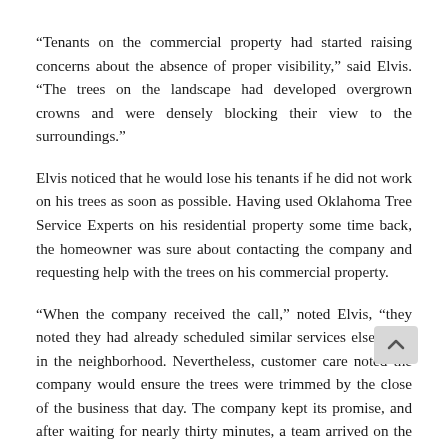“Tenants on the commercial property had started raising concerns about the absence of proper visibility,” said Elvis. “The trees on the landscape had developed overgrown crowns and were densely blocking their view to the surroundings.”
Elvis noticed that he would lose his tenants if he did not work on his trees as soon as possible. Having used Oklahoma Tree Service Experts on his residential property some time back, the homeowner was sure about contacting the company and requesting help with the trees on his commercial property.
“When the company received the call,” noted Elvis, “they noted they had already scheduled similar services elsewhere in the neighborhood. Nevertheless, customer care noted the company would ensure the trees were trimmed by the close of the business that day. The company kept its promise, and after waiting for nearly thirty minutes, a team arrived on the landscape with every tool they needed to see through the whole procedure. They improved the trees, leaving the landscape looking amazing.”